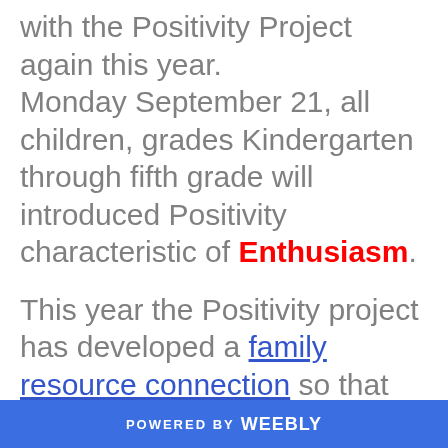with the Positivity Project again this year. Monday September 21, all children, grades Kindergarten through fifth grade will introduced Positivity characteristic of Enthusiasm.
This year the Positivity project has developed a family resource connection so that you can be part of Positivity in Action at
POWERED BY weebly